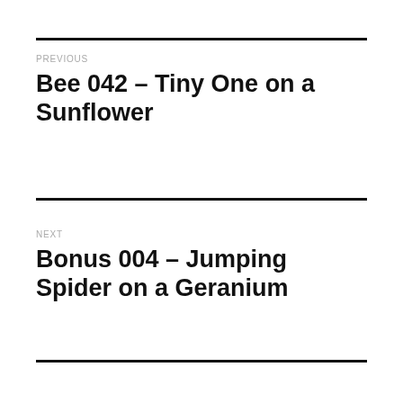PREVIOUS
Bee 042 – Tiny One on a Sunflower
NEXT
Bonus 004 – Jumping Spider on a Geranium